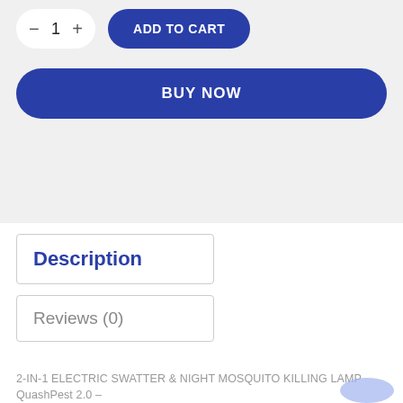[Figure (screenshot): E-commerce product page section showing quantity selector with minus, 1, plus controls and an ADD TO CART button, followed by a full-width BUY NOW button, all on a light grey background]
Description
Reviews (0)
2-IN-1 ELECTRIC SWATTER & NIGHT MOSQUITO KILLING LAMP
QuashPest 2.0 –